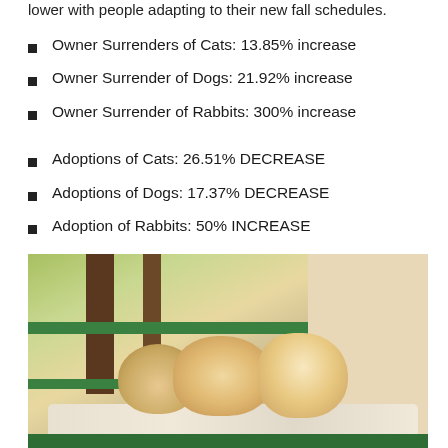lower with people adapting to their new fall schedules.
Owner Surrenders of Cats:  13.85% increase
Owner Surrender of Dogs: 21.92% increase
Owner Surrender of Rabbits: 300% increase
Adoptions of Cats: 26.51% DECREASE
Adoptions of Dogs: 17.37% DECREASE
Adoption of Rabbits: 50% INCREASE
[Figure (photo): Three orange and white kittens resting on a green shelf with a blanket, inside what appears to be an animal shelter cat room with green shelving unit and beige walls.]